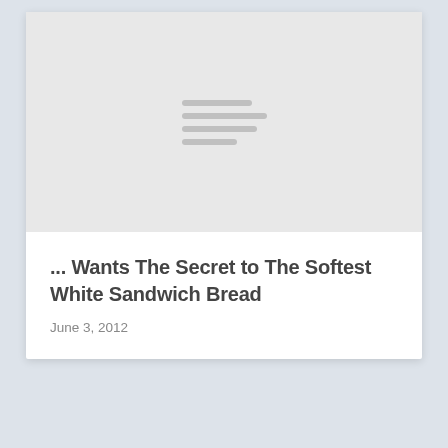[Figure (illustration): Light gray rectangular placeholder image with four horizontal gray lines centered, resembling a loading or placeholder graphic for a blog post image.]
... Wants The Secret to The Softest White Sandwich Bread
June 3, 2012